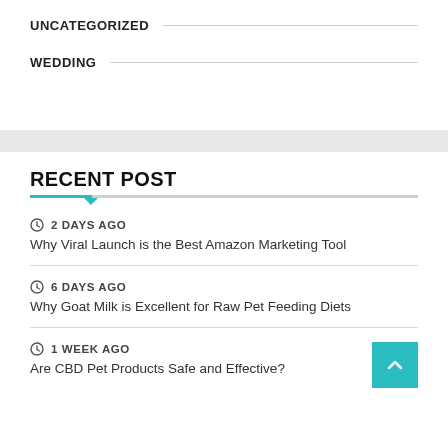UNCATEGORIZED
WEDDING
RECENT POST
2 DAYS AGO
Why Viral Launch is the Best Amazon Marketing Tool
6 DAYS AGO
Why Goat Milk is Excellent for Raw Pet Feeding Diets
1 WEEK AGO
Are CBD Pet Products Safe and Effective?